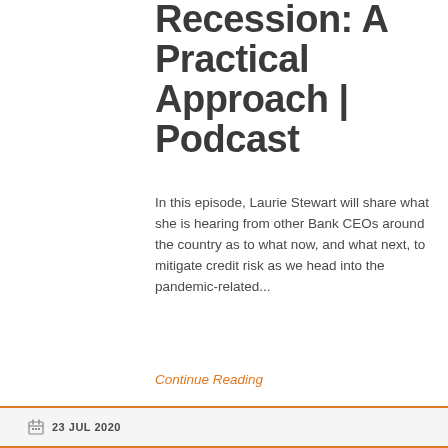Head into the Recession: A Practical Approach | Podcast
In this episode, Laurie Stewart will share what she is hearing from other Bank CEOs around the country as to what now, and what next, to mitigate credit risk as we head into the pandemic-related...
Continue Reading
23 JUL 2020